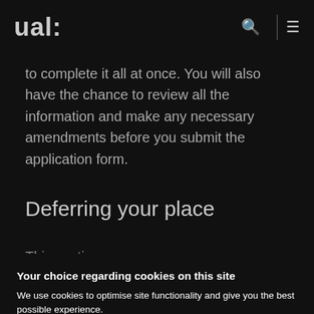ual:
to complete it all at once. You will also have the chance to review all the information and make any necessary amendments before you submit the application form.
Deferring your place
This section...
Your choice regarding cookies on this site
We use cookies to optimise site functionality and give you the best possible experience.
I Accept Cookies
I Do Not Accept Cookies
Settings